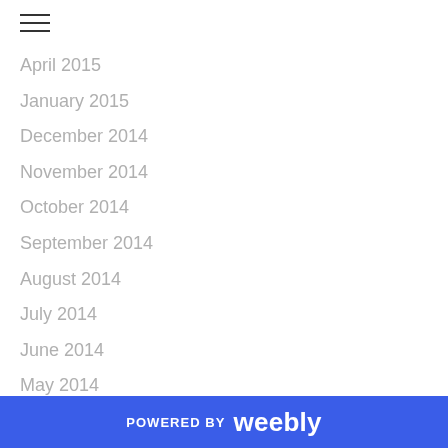April 2015
January 2015
December 2014
November 2014
October 2014
September 2014
August 2014
July 2014
June 2014
May 2014
April 2014
March 2014
February 2014
January 2014
December 2013
November 2013
POWERED BY weebly